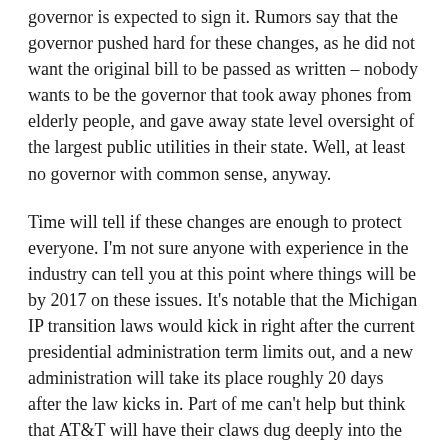governor is expected to sign it. Rumors say that the governor pushed hard for these changes, as he did not want the original bill to be passed as written – nobody wants to be the governor that took away phones from elderly people, and gave away state level oversight of the largest public utilities in their state. Well, at least no governor with common sense, anyway.
Time will tell if these changes are enough to protect everyone. I'm not sure anyone with experience in the industry can tell you at this point where things will be by 2017 on these issues. It's notable that the Michigan IP transition laws would kick in right after the current presidential administration term limits out, and a new administration will take its place roughly 20 days after the law kicks in. Part of me can't help but think that AT&T will have their claws dug deeply into the backs of the nominees of both parties.
So is this the end? Are we screwed now?